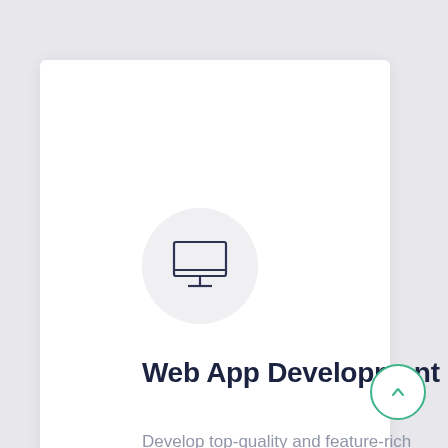[Figure (illustration): A desktop monitor icon centered inside a light gray circle, drawn with thin dark outline strokes.]
Web App Development
Develop top-quality and feature-rich web development solutions for your business from an extremely talented team of developers.